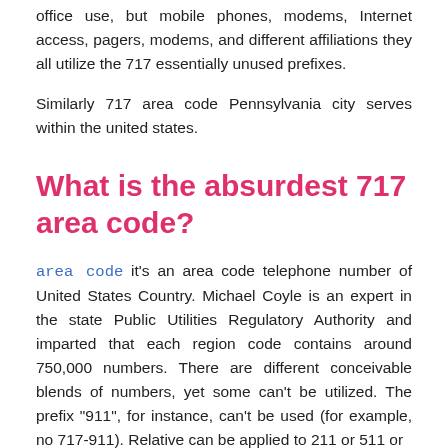office use, but mobile phones, modems, Internet access, pagers, modems, and different affiliations they all utilize the 717 essentially unused prefixes.
Similarly 717 area code Pennsylvania city serves within the united states.
What is the absurdest 717 area code?
area code it's an area code telephone number of United States Country. Michael Coyle is an expert in the state Public Utilities Regulatory Authority and imparted that each region code contains around 750,000 numbers. There are different conceivable blends of numbers, yet some can't be utilized. The prefix "911", for instance, can't be used (for example, no 717-911). Relative can be applied to 211 or 511 or